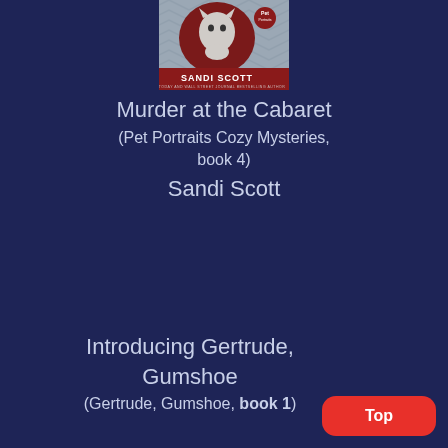[Figure (illustration): Book cover for 'Murder at the Cabaret' by Sandi Scott, showing a cat illustration with dark red oval frame and chevron background, with 'SANDI SCOTT' text and 'Pet Portraits' badge]
Murder at the Cabaret
(Pet Portraits Cozy Mysteries, book 4)
Sandi Scott
Introducing Gertrude, Gumshoe
(Gertrude, Gumshoe, book 1)